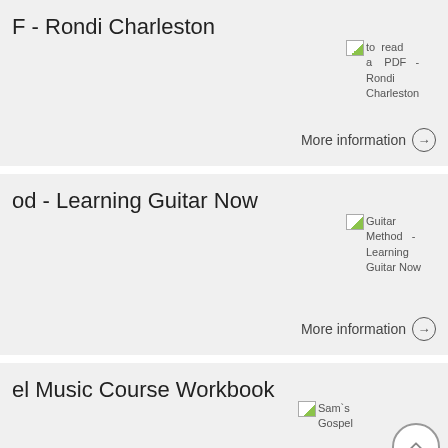F - Rondi Charleston
[Figure (screenshot): Broken image placeholder labeled 'to read a PDF - Rondi Charleston']
More information →
od - Learning Guitar Now
[Figure (screenshot): Broken image placeholder labeled 'Guitar Method - Learning Guitar Now']
More information →
el Music Course Workbook
[Figure (screenshot): Broken image placeholder labeled 'Sam's Gospel']